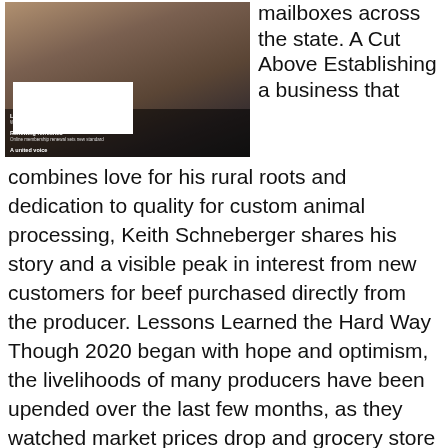[Figure (photo): A magazine or newsletter page thumbnail showing a rustic interior scene with text overlays reading 'Lessons learned the hard way', 'Renewing refreshed', and 'A united voice']
mailboxes across the state. A Cut Above Establishing a business that combines love for his rural roots and dedication to quality for custom animal processing, Keith Schneberger shares his story and a visible peak in interest from new customers for beef purchased directly from the producer. Lessons Learned the Hard Way Though 2020 began with hope and optimism, the livelihoods of many producers have been upended over the last few months, as they watched market prices drop and grocery store prices rise. After looking back on the [...]